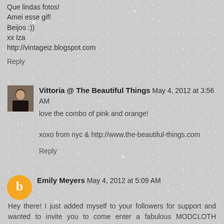Que lindas fotos!
Amei esse gif!
Beijos :))
xx Iza
http://vintageiz.blogspot.com
Reply
Vittoria @ The Beautiful Things  May 4, 2012 at 3:56 AM
love the combo of pink and orange!

xoxo from nyc & http://www.the-beautiful-things.com
Reply
Emily Meyers  May 4, 2012 at 5:09 AM
Hey there! I just added myself to your followers for support and wanted to invite you to come enter a fabulous MODCLOTH giveaway I'm having right now!!

Hope to see you there! Thanks so much!